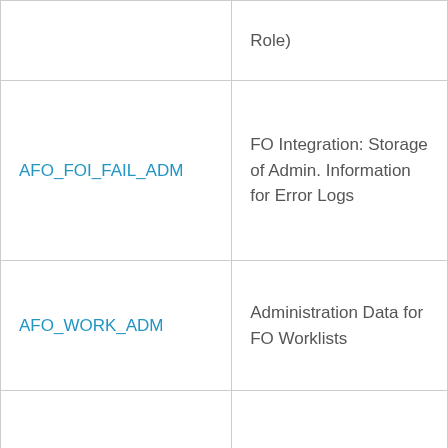| Role | Description |
| --- | --- |
|  | Role) |
| AFO_FOI_FAIL_ADM | FO Integration: Storage of Admin. Information for Error Logs |
| AFO_WORK_ADM | Administration Data for FO Worklists |
| AIMEXPERT | Experts for AIM Method Maintenance |
| AIMTRKORR | AIMTRKORR |